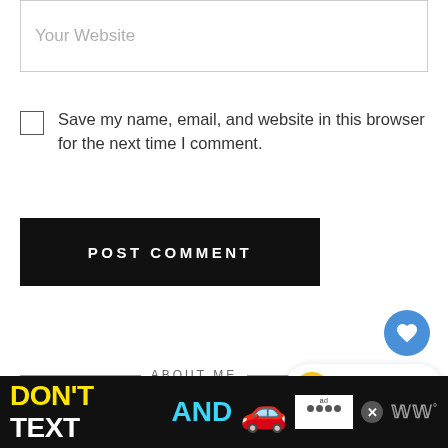Your Website
Save my name, email, and website in this browser for the next time I comment.
POST COMMENT
ABOUT ME
[Figure (photo): Partial photo of a person with blonde hair, partially visible at bottom of page]
1
[Figure (infographic): Ad banner: DON'T TEXT AND [car emoji] with NHTSA branding and close button]